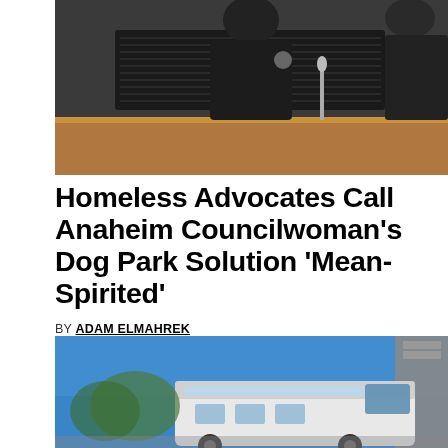[Figure (photo): A person in dark clothing seated at what appears to a council dais or panel table, with a microphone visible.]
Homeless Advocates Call Anaheim Councilwoman's Dog Park Solution 'Mean-Spirited'
BY ADAM ELMAHREK
Sep 17, 2015
Why you can trust Voice of OC
[Figure (photo): An RV or large recreational vehicle parked outdoors under a blue sky, with a building visible in the background.]